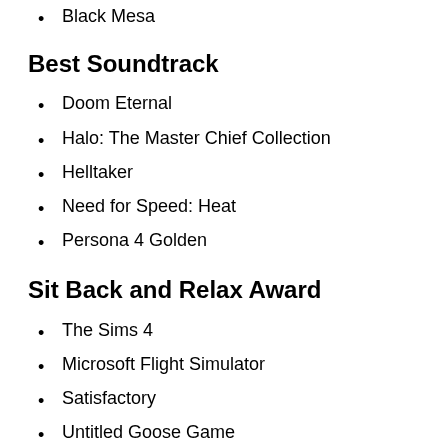Black Mesa
Best Soundtrack
Doom Eternal
Halo: The Master Chief Collection
Helltaker
Need for Speed: Heat
Persona 4 Golden
Sit Back and Relax Award
The Sims 4
Microsoft Flight Simulator
Satisfactory
Untitled Goose Game
Factorio